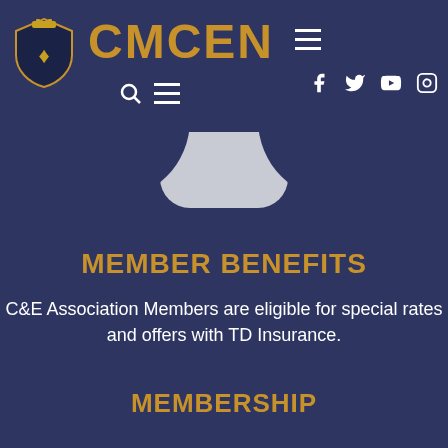CMCEN
MEMBER BENEFITS
C&E Association Members are eligible for special rates and offers with TD Insurance.
MEMBERSHIP